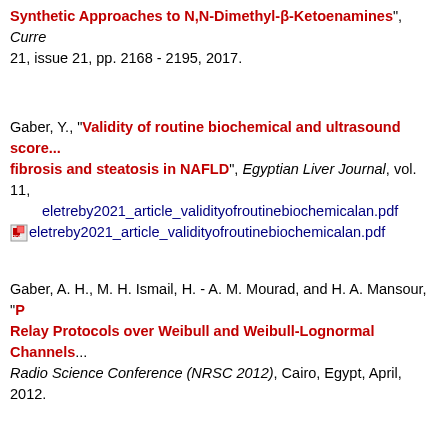Synthetic Approaches to N,N-Dimethyl-β-Ketoenamines", Current... 21, issue 21, pp. 2168 - 2195, 2017.
Gaber, Y., "Validity of routine biochemical and ultrasound score... fibrosis and steatosis in NAFLD", Egyptian Liver Journal, vol. 11, ... eletreby2021_article_validityofroutinebiochemicalan.pdf eletreby2021_article_validityofroutinebiochemicalan.pdf
Gaber, A. H., M. H. Ismail, H. - A. M. Mourad, and H. A. Mansour, "P... Relay Protocols over Weibull and Weibull-Lognormal Channels... Radio Science Conference (NRSC 2012), Cairo, Egypt, April, 2012.
Gaber, W., S. Sayed, Y. Ezzat, T. W. Kassem, and H. Khalil, "Compa... affection in SLE patients with and without antiphospholipid sy... Rheumatologist, vol. 34, no. 2: Elsevier, pp. 51–57, 2012. Abstract